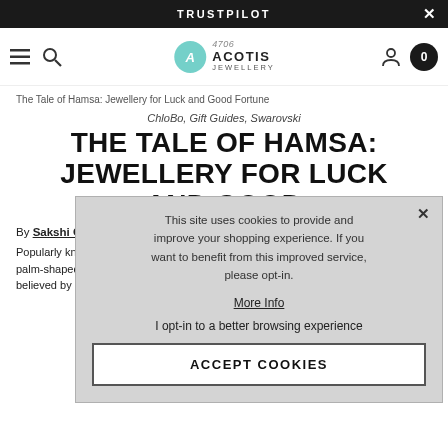TRUSTPILOT
[Figure (logo): Acotis Jewellery logo with teal circle icon and text ACOTIS JEWELLERY]
The Tale of Hamsa: Jewellery for Luck and Good Fortune
ChloBo, Gift Guides, Swarovski
THE TALE OF HAMSA: JEWELLERY FOR LUCK AND GOOD FORTUNE
By Sakshi Chaud...
Popularly known... Hand of Mariam... palm-shaped am... believed by some, primarily Muslims and Jews, to provide
This site uses cookies to provide and improve your shopping experience. If you want to benefit from this improved service, please opt-in.
More Info
I opt-in to a better browsing experience
ACCEPT COOKIES